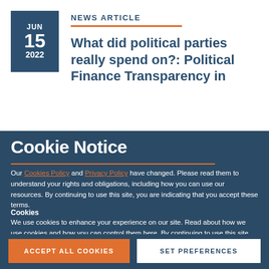JUN 15 2022
NEWS ARTICLE
What did political parties really spend on?: Political Finance Transparency in
Cookie Notice
Our Cookies Policy and Privacy Policy have changed. Please read them to understand your rights and obligations, including how you can use our resources. By continuing to use this site, you are indicating that you accept these terms.
Cookies
We use cookies to enhance your experience on our site. Read about how we use cookies and how you can control them here. By continuing to use this site, without changing your settings, you are indicating that you accept this policy.
ACCEPT ALL COOKIES
SET PREFERENCES